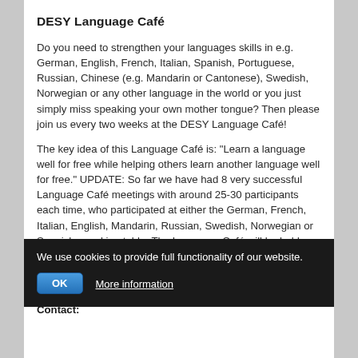DESY Language Café
Do you need to strengthen your languages skills in e.g. German, English, French, Italian, Spanish, Portuguese, Russian, Chinese (e.g. Mandarin or Cantonese), Swedish, Norwegian or any other language in the world or you just simply miss speaking your own mother tongue? Then please join us every two weeks at the DESY Language Café!
The key idea of this Language Café is: "Learn a language well for free while helping others learn another language well for free." UPDATE: So far we have had 8 very successful Language Café meetings with around 25-30 participants each time, who participated at either the German, French, Italian, English, Mandarin, Russian, Swedish, Norwegian or Spanish speaking table. The Language Café will be held every two weeks, on Fridays around lunch hour.
More...
Contact:
We use cookies to provide full functionality of our website.
OK   More information